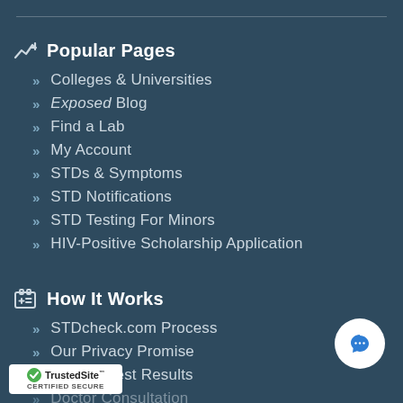Popular Pages
Colleges & Universities
Exposed Blog
Find a Lab
My Account
STDs & Symptoms
STD Notifications
STD Testing For Minors
HIV-Positive Scholarship Application
How It Works
STDcheck.com Process
Our Privacy Promise
Sample Test Results
Doctor Consultation
Patient Testimonials